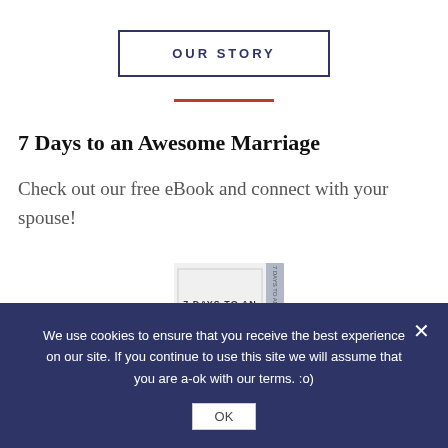OUR STORY
7 Days to an Awesome Marriage
Check out our free eBook and connect with your spouse!
[Figure (illustration): Book cover showing '7 DAYS TO AN AWESOME MARRIAGE' text on a white/grey book]
We use cookies to ensure that you receive the best experience on our site. If you continue to use this site we will assume that you are a-ok with our terms. :o)